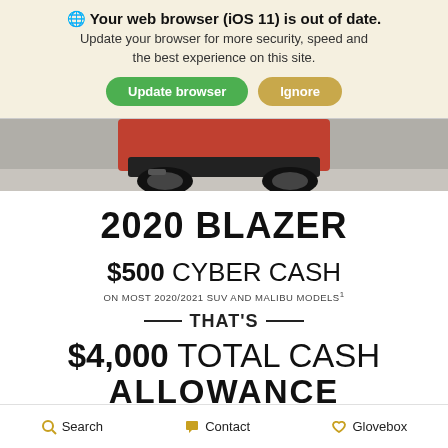🌐 Your web browser (iOS 11) is out of date. Update your browser for more security, speed and the best experience on this site. [Update browser] [Ignore]
[Figure (photo): Bottom rear portion of a red/orange SUV (Chevrolet Blazer) on a light surface, cropped]
2020 BLAZER
$500 CYBER CASH
ON MOST 2020/2021 SUV AND MALIBU MODELS¹
— THAT'S —
$4,000 TOTAL CASH ALLOWANCE
Search   Contact   Glovebox